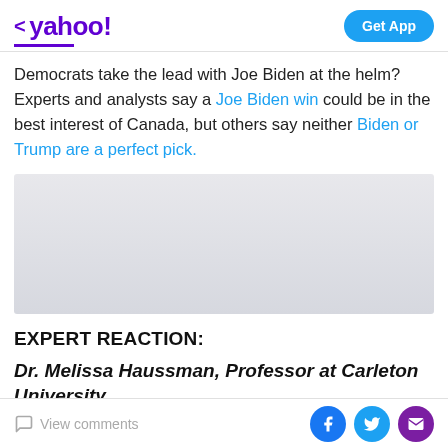< yahoo!  Get App
Democrats take the lead with Joe Biden at the helm? Experts and analysts say a Joe Biden win could be in the best interest of Canada, but others say neither Biden or Trump are a perfect pick.
[Figure (other): Gray advertisement placeholder image]
EXPERT REACTION:
Dr. Melissa Haussman, Professor at Carleton University
View comments  [Facebook] [Twitter] [Mail]